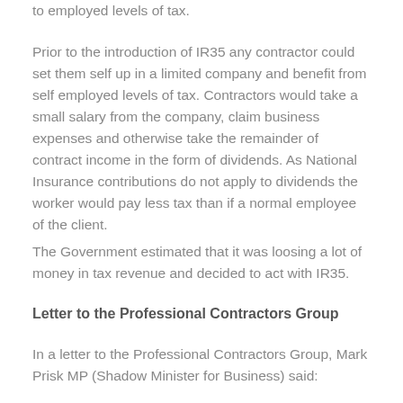to employed levels of tax.
Prior to the introduction of IR35 any contractor could set them self up in a limited company and benefit from self employed levels of tax. Contractors would take a small salary from the company, claim business expenses and otherwise take the remainder of contract income in the form of dividends. As National Insurance contributions do not apply to dividends the worker would pay less tax than if a normal employee of the client.
The Government estimated that it was loosing a lot of money in tax revenue and decided to act with IR35.
Letter to the Professional Contractors Group
In a letter to the Professional Contractors Group, Mark Prisk MP (Shadow Minister for Business) said: